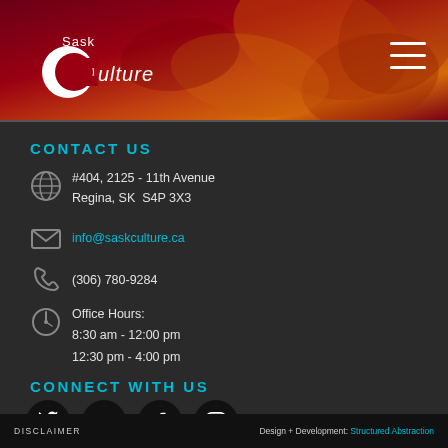[Figure (logo): SaskCulture logo with stylized white C and text on dark red/orange abstract background header]
CONTACT US
#404, 2125 - 11th Avenue
Regina, SK  S4P 3X3
info@saskculture.ca
(306) 780-9284
Office Hours:
8:30 am - 12:00 pm
12:30 pm - 4:00 pm
CONNECT WITH US
[Figure (infographic): Social media icons: Twitter, YouTube, Facebook, Instagram — circular black buttons with white icons]
DISCLAIMER | Design + Development: Structured Abstraction